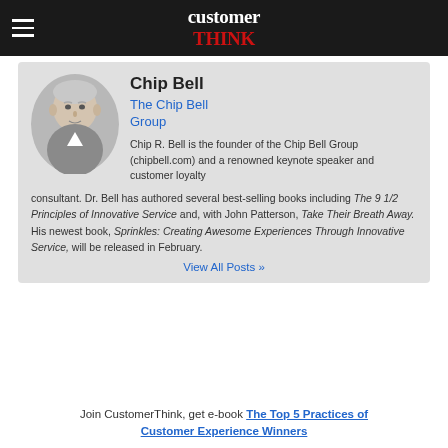customerTHINK
Chip Bell
The Chip Bell Group
[Figure (photo): Headshot photo of Chip Bell, an older gentleman with gray/white hair against a light background]
Chip R. Bell is the founder of the Chip Bell Group (chipbell.com) and a renowned keynote speaker and customer loyalty consultant. Dr. Bell has authored several best-selling books including The 9 1/2 Principles of Innovative Service and, with John Patterson, Take Their Breath Away. His newest book, Sprinkles: Creating Awesome Experiences Through Innovative Service, will be released in February.
View All Posts »
Join CustomerThink, get e-book The Top 5 Practices of Customer Experience Winners